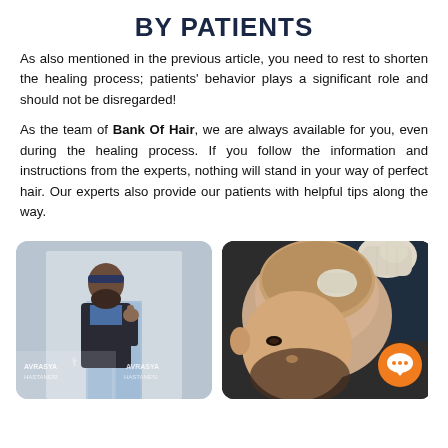BY PATIENTS
As also mentioned in the previous article, you need to rest to shorten the healing process; patients' behavior plays a significant role and should not be disregarded!
As the team of Bank Of Hair, we are always available for you, even during the healing process. If you follow the information and instructions from the experts, nothing will stand in your way of perfect hair. Our experts also provide our patients with helpful tips along the way.
[Figure (photo): Patient with thumbs up wearing a headband standing outside Avrasya Hospital]
[Figure (photo): Medical professional with gloves examining a patient's scalp, with orange chat button overlay]